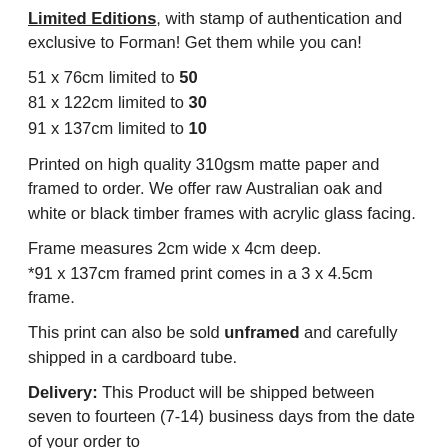Limited Editions, with stamp of authentication and exclusive to Forman! Get them while you can!
51 x 76cm limited to 50
81 x 122cm limited to 30
91 x 137cm limited to 10
Printed on high quality 310gsm matte paper and framed to order. We offer raw Australian oak and white or black timber frames with acrylic glass facing.
Frame measures 2cm wide x 4cm deep.
*91 x 137cm framed print comes in a 3 x 4.5cm frame.
This print can also be sold unframed and carefully shipped in a cardboard tube.
Delivery: This Product will be shipped between seven to fourteen (7-14) business days from the date of your order to